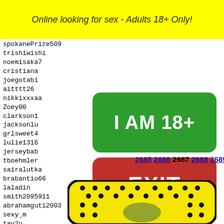Online looking for sex - Adults 18+ Only!
spokanePrize509
trishiwishi
noemisaka7
cristiana
joegotabi
aitttt26
nikkixxxaa
Zoey00
clarkson1
jacksonlu
grlsweet4
lulie1316
jerseybab
tboehmler
sairalutka
brabantio66
laladin
smith2095911
abrahamguti2003
sexy_m
tay2u
helemi
aariia
krissy
panama
[Figure (other): Green button with text I AM 18+]
[Figure (other): Red button with text EXIT]
2685 2686 2687 2688 2689
[Figure (illustration): Snapchat ghost logo on yellow background with black dots pattern]